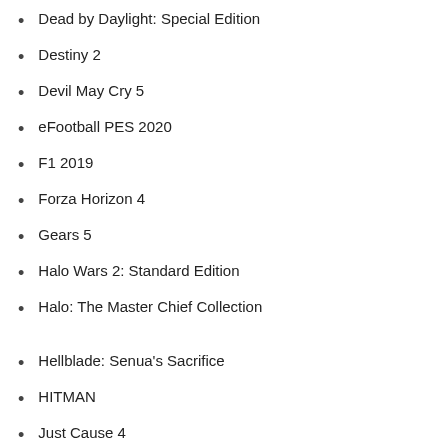Dead by Daylight: Special Edition
Destiny 2
Devil May Cry 5
eFootball PES 2020
F1 2019
Forza Horizon 4
Gears 5
Halo Wars 2: Standard Edition
Halo: The Master Chief Collection
Hellblade: Senua's Sacrifice
HITMAN
Just Cause 4
Minecraft Dungeons - Windows 10
Ori and the Will of the Wisps
PLAYERUNKNOWN'S BATTLEGROUNDS
RESIDENT EVIL 7 biohazard
Sea of Thieves
Shadow of the Tomb Raider